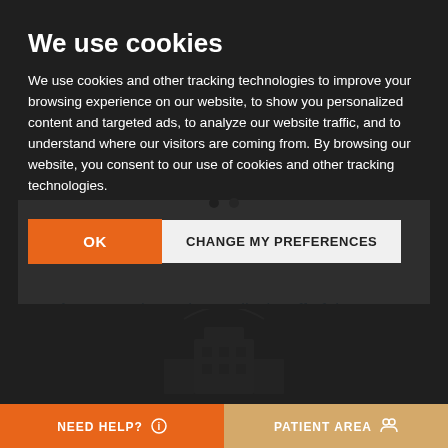We use cookies
We use cookies and other tracking technologies to improve your browsing experience on our website, to show you personalized content and targeted ads, to analyze our website traffic, and to understand where our visitors are coming from. By browsing our website, you consent to our use of cookies and other tracking technologies.
OK | CHANGE MY PREFERENCES
Access to the entire medical staff of the Clinic ⊕
NEED HELP? ℹ
PATIENT AREA 👥